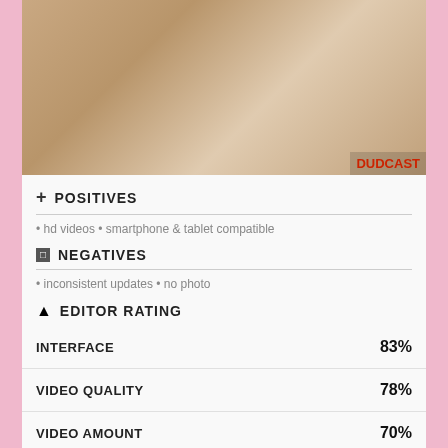[Figure (photo): Screenshot of adult video website showing two people on a white couch with DUDCAST watermark]
+ POSITIVES
• hd videos • smartphone & tablet compatible
□ NEGATIVES
• inconsistent updates • no photo
▲ EDITOR RATING
| Category | Score |
| --- | --- |
| INTERFACE | 83% |
| VIDEO QUALITY | 78% |
| VIDEO AMOUNT | 70% |